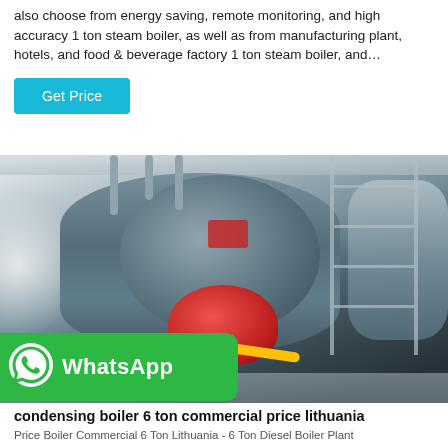also choose from energy saving, remote monitoring, and high accuracy 1 ton steam boiler, as well as from manufacturing plant, hotels, and food & beverage factory 1 ton steam boiler, and…
[Figure (other): Get Price button - cyan/teal rounded rectangle button]
[Figure (photo): Industrial steam boiler in a manufacturing facility. Large cylindrical grey boiler body with red burner unit attached. A WhatsApp chat button overlay is visible at the bottom left of the image.]
condensing boiler 6 ton commercial price lithuania
Price Boiler Commercial 6 Ton Lithuania - 6 Ton Diesel Boiler Plant